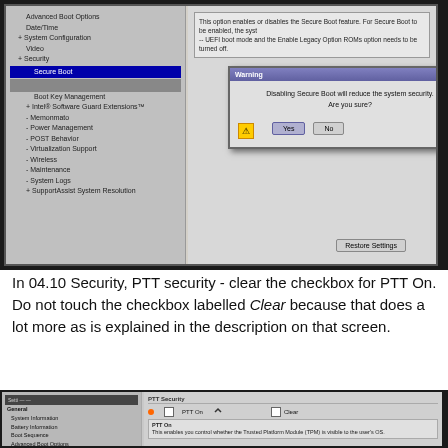[Figure (screenshot): BIOS/UEFI setup screen showing Security Boot options with a warning dialog box open. The warning reads 'Disabling Secure Boot will reduce the system security. Are you sure?' with Yes and No buttons. A 'Restore Settings' button is visible at the bottom of the BIOS screen.]
In 04.10 Security, PTT security - clear the checkbox for PTT On. Do not touch the checkbox labelled Clear because that does a lot more as is explained in the description on that screen.
[Figure (screenshot): BIOS/UEFI setup screen showing PTT Security settings. The left panel shows a menu tree with General, System Information, Battery Information, Boot Sequence, Advanced Boot Options, and Date/Time options. The right panel shows PTT Security section with 'PTT On' checkbox and a 'Clear' checkbox. Below is a description text explaining PTT On enables the Trusted Platform Module (TPM) to be visible to the user's OS.]